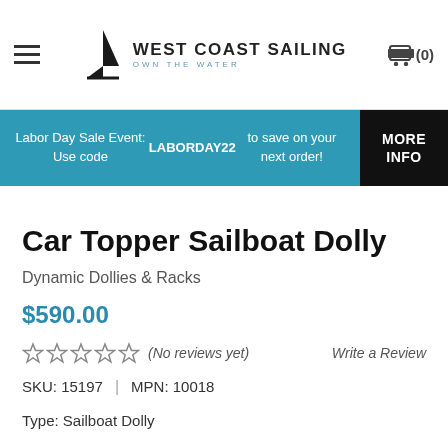West Coast Sailing — Own the Water
Labor Day Sale Event: Use code LABORDAY22 to save on your next order! MORE INFO
Car Topper Sailboat Dolly
Dynamic Dollies & Racks
$590.00
(No reviews yet)   Write a Review
SKU: 15197  |  MPN: 10018
Type: Sailboat Dolly